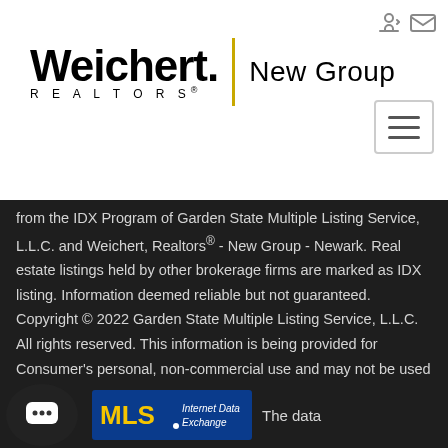[Figure (logo): Weichert Realtors New Group logo with yellow vertical divider bar]
from the IDX Program of Garden State Multiple Listing Service, L.L.C. and Weichert, Realtors® - New Group - Newark. Real estate listings held by other brokerage firms are marked as IDX listing. Information deemed reliable but not guaranteed. Copyright © 2022 Garden State Multiple Listing Service, L.L.C. All rights reserved. This information is being provided for Consumer's personal, non-commercial use and may not be used    Show More...
[Figure (logo): IDX MLS Internet Data Exchange logo with chat bubble icon overlay and The data text]